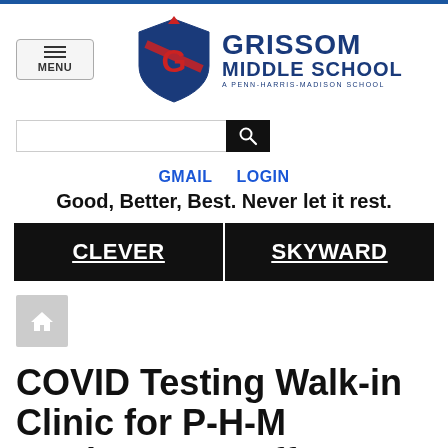[Figure (logo): Grissom Middle School logo with shield/crest and school name 'GRISSOM MIDDLE SCHOOL - A PENN-HARRIS-MADISON SCHOOL']
[Figure (other): Search bar with black search button]
GMAIL   LOGIN
Good, Better, Best. Never let it rest.
CLEVER   SKYWARD
[Figure (other): Home breadcrumb icon (white house on grey background)]
COVID Testing Walk-in Clinic for P-H-M Students & Staff